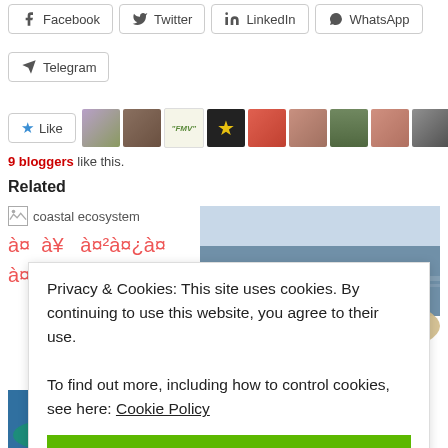Facebook
Twitter
LinkedIn
WhatsApp
Telegram
9 bloggers like this.
Related
[Figure (photo): Coastal ecosystem image placeholder with broken image icon and garbled text in red]
[Figure (photo): Aerial coastal photograph showing a curved shoreline with beach, ocean, and town]
Privacy & Cookies: This site uses cookies. By continuing to use this website, you agree to their use.
To find out more, including how to control cookies, see here: Cookie Policy
CLOSE AND ACCEPT